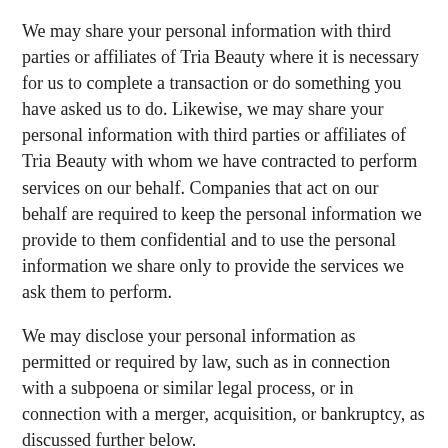We may share your personal information with third parties or affiliates of Tria Beauty where it is necessary for us to complete a transaction or do something you have asked us to do. Likewise, we may share your personal information with third parties or affiliates of Tria Beauty with whom we have contracted to perform services on our behalf. Companies that act on our behalf are required to keep the personal information we provide to them confidential and to use the personal information we share only to provide the services we ask them to perform.
We may disclose your personal information as permitted or required by law, such as in connection with a subpoena or similar legal process, or in connection with a merger, acquisition, or bankruptcy, as discussed further below.
WEBSITE USAGE
Tria Beauty or its authorized service providers may observe activities, preferences and transactional data (such as your IP address, browser type and operating system) relating to your use of the Site. This information is generally collected in non-